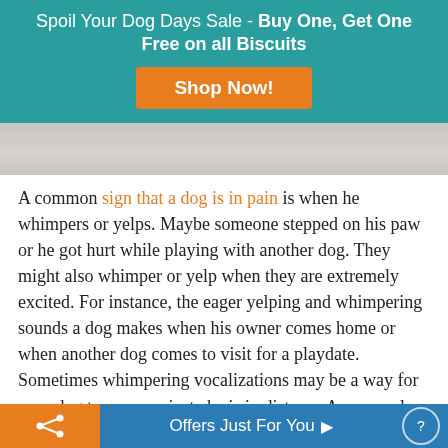Spoil Your Dog Days Sale - Buy One, Get One Free on all Biscuits
[Figure (photo): Light gray/white fabric or surface, partially visible image strip]
A common sign that a dog is in pain is when he whimpers or yelps. Maybe someone stepped on his paw or he got hurt while playing with another dog. They might also whimper or yelp when they are extremely excited. For instance, the eager yelping and whimpering sounds a dog makes when his owner comes home or when another dog comes to visit for a playdate. Sometimes whimpering vocalizations may be a way for your dog to communicate he is in distress. An example of this is when dogs become anxious during a thunderstorm or when they hear fireworks.
Offers Just For You